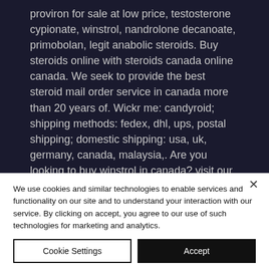proviron for sale at low price, testosterone cypionate, winstrol, nandrolone decanoate, primobolan, legit anabolic steroids. Buy steroids online with steroids canada online canada. We seek to provide the best steroid mail order service in canada more than 20 years of. Wickr me: candyroid; shipping methods: fedex, dhl, ups, postal shipping; domestic shipping: usa, uk, germany, canada, malaysia,. Are you looking to buy winstrol in canada? visit our anabolic steroid store to purchase our highly effective winstrol today. Winstrol depot an extremely powerful
We use cookies and similar technologies to enable services and functionality on our site and to understand your interaction with our service. By clicking on accept, you agree to our use of such technologies for marketing and analytics.
Cookie Settings
Accept